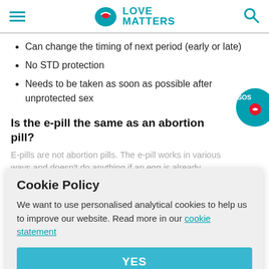Love Matters
Can change the timing of next period (early or late)
No STD protection
Needs to be taken as soon as possible after unprotected sex
Is the e-pill the same as an abortion pill?
E-pills are not abortion pills. The e-pill works in various ways and doesn't do anything if an egg is already fertilized.
Cookie Policy
We want to use personalised analytical cookies to help us to improve our website. Read more in our cookie statement
YES
Ho... an get the e-pill over the counter or from your healthcare provider. Because it is most effective the